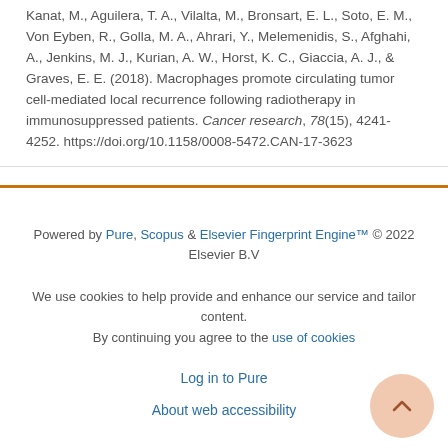Kanat, M., Aguilera, T. A., Vilalta, M., Bronsart, E. L., Soto, E. M., Von Eyben, R., Golla, M. A., Ahrari, Y., Melemenidis, S., Afghahi, A., Jenkins, M. J., Kurian, A. W., Horst, K. C., Giaccia, A. J., & Graves, E. E. (2018). Macrophages promote circulating tumor cell-mediated local recurrence following radiotherapy in immunosuppressed patients. Cancer research, 78(15), 4241-4252. https://doi.org/10.1158/0008-5472.CAN-17-3623
Powered by Pure, Scopus & Elsevier Fingerprint Engine™ © 2022 Elsevier B.V
We use cookies to help provide and enhance our service and tailor content. By continuing you agree to the use of cookies
Log in to Pure
About web accessibility